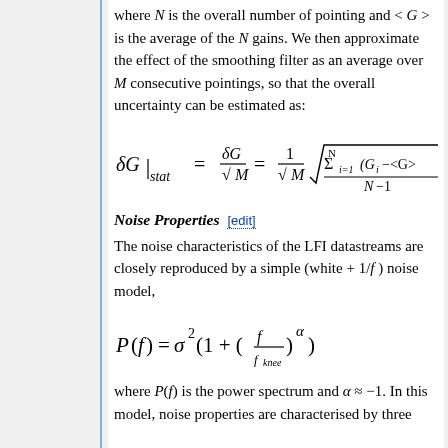where N is the overall number of pointing and < G > is the average of the N gains. We then approximate the effect of the smoothing filter as an average over M consecutive pointings, so that the overall uncertainty can be estimated as:
Noise Properties
The noise characteristics of the LFI datastreams are closely reproduced by a simple (white + 1/f ) noise model,
where P(f) is the power spectrum and α ≈ −1. In this model, noise properties are characterised by three